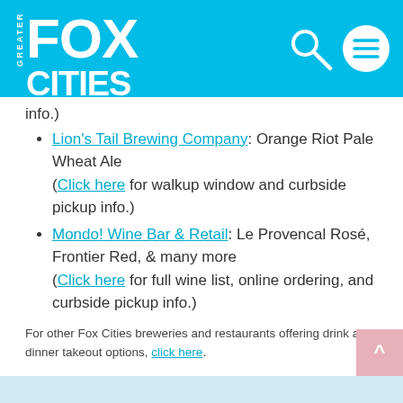[Figure (logo): Greater Fox Cities Appleton WI logo with search and menu icons on cyan/blue header background]
info.)
Lion's Tail Brewing Company: Orange Riot Pale Wheat Ale (Click here for walkup window and curbside pickup info.)
Mondo! Wine Bar & Retail: Le Provencal Rosé, Frontier Red, & many more (Click here for full wine list, online ordering, and curbside pickup info.)
For other Fox Cities breweries and restaurants offering drink and dinner takeout options, click here.